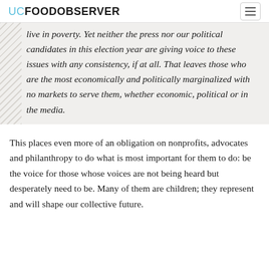UC FOOD OBSERVER
live in poverty. Yet neither the press nor our political candidates in this election year are giving voice to these issues with any consistency, if at all. That leaves those who are the most economically and politically marginalized with no markets to serve them, whether economic, political or in the media.
This places even more of an obligation on nonprofits, advocates and philanthropy to do what is most important for them to do: be the voice for those whose voices are not being heard but desperately need to be. Many of them are children; they represent and will shape our collective future.